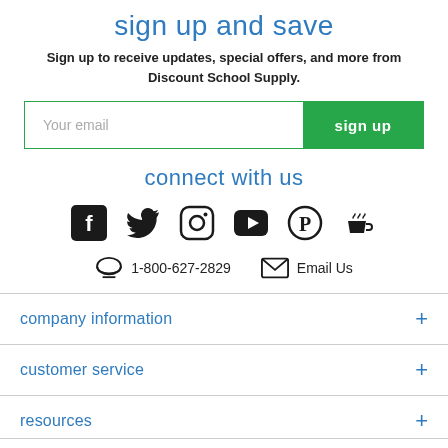sign up and save
Sign up to receive updates, special offers, and more from Discount School Supply.
[Figure (infographic): Email signup form with 'Your email' input field and green 'sign up' button]
connect with us
[Figure (infographic): Social media icons: Facebook, Twitter, Instagram, YouTube, Pinterest, Blog/Coffee]
1-800-627-2829   Email Us
company information
customer service
resources